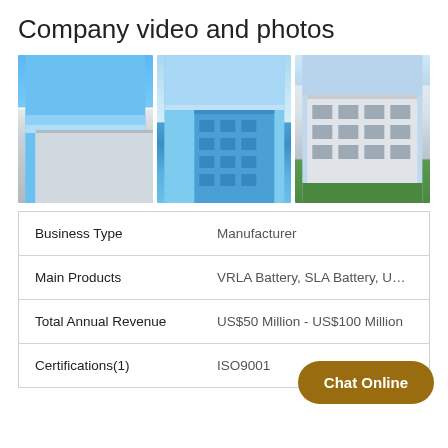Company video and photos
[Figure (photo): Three photos of company buildings against blue sky]
| Business Type | Manufacturer |
| Main Products | VRLA Battery, SLA Battery, UPS Bat |
| Total Annual Revenue | US$50 Million - US$100 Million |
| Certifications(1) | ISO9001 |